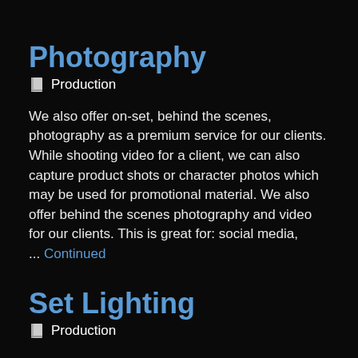Photography
📋  Production
We also offer on-set, behind the scenes, photography as a premium service for our clients. While shooting video for a client, we can also capture product shots or character photos which may be used for promotional material. We also offer behind the scenes photography and video for our clients. This is great for: social media, ... Continued
Set Lighting
📋  Production